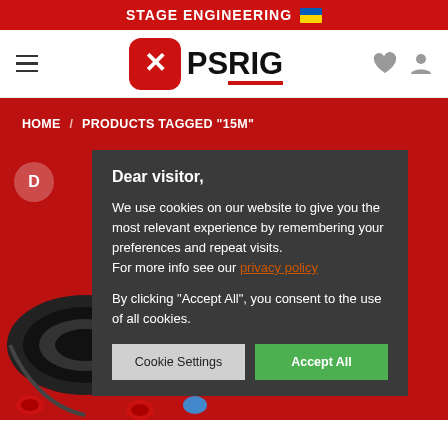STAGE ENGINEERING 🇺🇦
[Figure (logo): PS RIG logo with red rounded square icon containing white X/cross pattern, text PS RIG with red underline]
HOME / PRODUCTS TAGGED "15M"
Dear visitor,

We use cookies on our website to give you the most relevant experience by remembering your preferences and repeat visits.
For more info see our privacy policy

By clicking "Accept All", you consent to the use of all cookies.

Cookie Settings   Accept All
[Figure (photo): Black electrical cable coil/reel with red connectors at bottom of page]